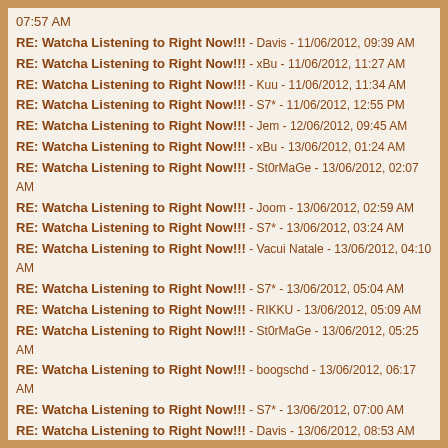07:57 AM
RE: Watcha Listening to Right Now!!! - Davis - 11/06/2012, 09:39 AM
RE: Watcha Listening to Right Now!!! - xBu - 11/06/2012, 11:27 AM
RE: Watcha Listening to Right Now!!! - Kuu - 11/06/2012, 11:34 AM
RE: Watcha Listening to Right Now!!! - S7* - 11/06/2012, 12:55 PM
RE: Watcha Listening to Right Now!!! - Jem - 12/06/2012, 09:45 AM
RE: Watcha Listening to Right Now!!! - xBu - 13/06/2012, 01:24 AM
RE: Watcha Listening to Right Now!!! - St0rMaGe - 13/06/2012, 02:07 AM
RE: Watcha Listening to Right Now!!! - Joom - 13/06/2012, 02:59 AM
RE: Watcha Listening to Right Now!!! - S7* - 13/06/2012, 03:24 AM
RE: Watcha Listening to Right Now!!! - Vacui Natale - 13/06/2012, 04:10 AM
RE: Watcha Listening to Right Now!!! - S7* - 13/06/2012, 05:04 AM
RE: Watcha Listening to Right Now!!! - RIKKU - 13/06/2012, 05:09 AM
RE: Watcha Listening to Right Now!!! - St0rMaGe - 13/06/2012, 05:25 AM
RE: Watcha Listening to Right Now!!! - boogschd - 13/06/2012, 06:17 AM
RE: Watcha Listening to Right Now!!! - S7* - 13/06/2012, 07:00 AM
RE: Watcha Listening to Right Now!!! - Davis - 13/06/2012, 08:53 AM
RE: Watcha Listening to Right Now!!! - Venom - 14/06/2012, 04:55 AM
RE: Watcha Listening to Right Now!!! - asurabp - 14/06/2012, 05:03 AM
RE: Watcha Listening to Right Now!!! - S7* - 14/06/2012, 05:15 AM